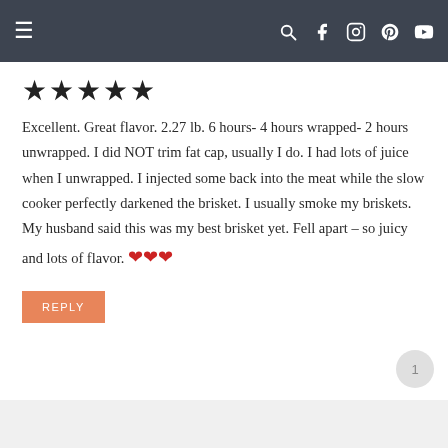Navigation bar with hamburger menu and social icons (search, Facebook, Instagram, Pinterest, YouTube)
★★★★★
Excellent. Great flavor. 2.27 lb. 6 hours- 4 hours wrapped- 2 hours unwrapped. I did NOT trim fat cap, usually I do. I had lots of juice when I unwrapped. I injected some back into the meat while the slow cooker perfectly darkened the brisket. I usually smoke my briskets. My husband said this was my best brisket yet. Fell apart – so juicy and lots of flavor. ❤❤❤
REPLY